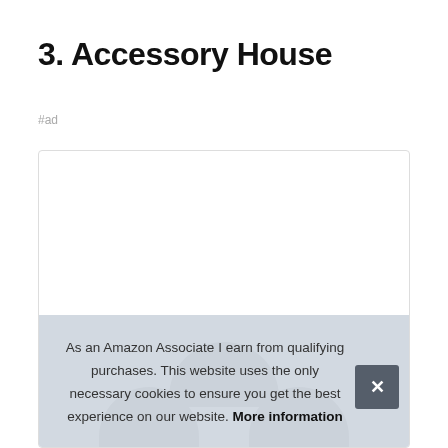3. Accessory House
#ad
[Figure (photo): Product image area showing dark headphones or earmuffs partially visible at the bottom of a white product card box]
As an Amazon Associate I earn from qualifying purchases. This website uses the only necessary cookies to ensure you get the best experience on our website. More information